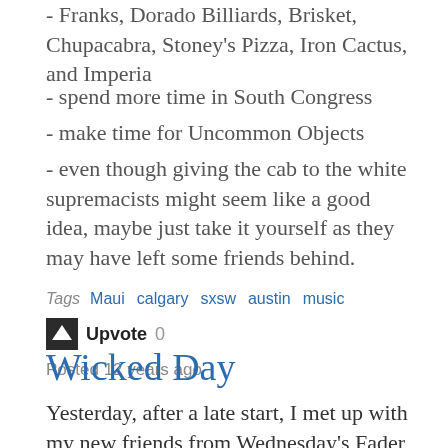- Franks, Dorado Billiards, Brisket, Chupacabra, Stoney's Pizza, Iron Cactus, and Imperia
- spend more time in South Congress
- make time for Uncommon Objects
- even though giving the cab to the white supremacists might seem like a good idea, maybe just take it yourself as they may have left some friends behind.
Tags  Maui  calgary  sxsw  austin  music
Upvote 0
Posted 12 years ago
Wicked Day
Yesterday, after a late start, I met up with my new friends from Wednesday's Fader Fort lineup. They